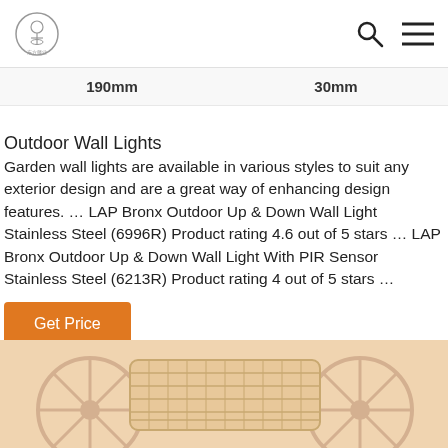[Logo] [Search icon] [Menu icon]
190mm   30mm
Outdoor Wall Lights
Garden wall lights are available in various styles to suit any exterior design and are a great way of enhancing design features. … LAP Bronx Outdoor Up & Down Wall Light Stainless Steel (6996R) Product rating 4.6 out of 5 stars … LAP Bronx Outdoor Up & Down Wall Light With PIR Sensor Stainless Steel (6213R) Product rating 4 out of 5 stars …
Get Price
[Figure (photo): Bottom portion of a decorative rattan/wicker cart or wagon with wheels, on a peach/light orange background]